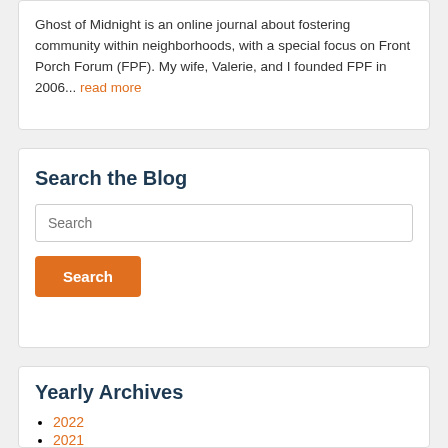Ghost of Midnight is an online journal about fostering community within neighborhoods, with a special focus on Front Porch Forum (FPF). My wife, Valerie, and I founded FPF in 2006... read more
Search the Blog
Search
Yearly Archives
2022
2021